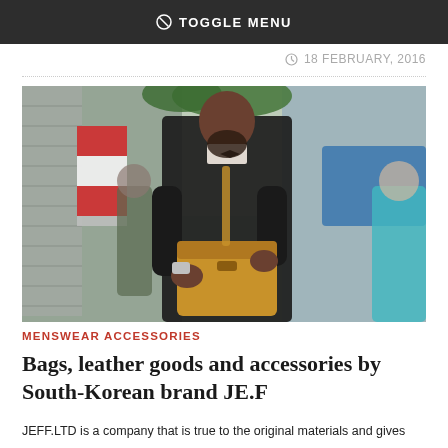⊘ TOGGLE MENU
18 FEBRUARY, 2016
[Figure (photo): A well-dressed bearded man in a dark blazer looking down at a tan leather satchel bag, with people and vehicles blurred in the background on a city street.]
MENSWEAR ACCESSORIES
Bags, leather goods and accessories by South-Korean brand JE.F
JEFF.LTD is a company that is true to the original materials and gives